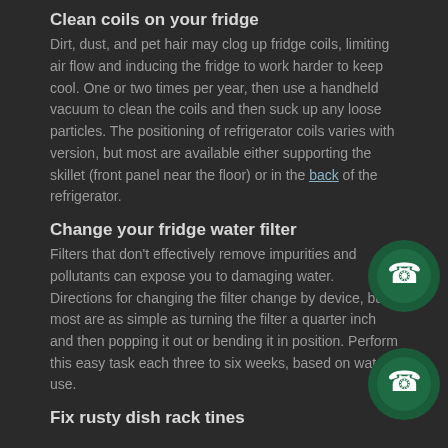Clean coils on your fridge
Dirt, dust, and pet hair may clog up fridge coils, limiting air flow and inducing the fridge to work harder to keep cool. One or two times per year, then use a handheld vacuum to clean the coils and then suck up any loose particles. The positioning of refrigerator coils varies with version, but most are available either supporting the skillet (front panel near the floor) or in the back of the refrigerator.
Change your fridge water filter
Filters that don't effectively remove impurities and pollutants can expose you to damaging water. Directions for changing the filter change by device, but most are as simple as turning the filter a quarter inch and then popping it out or bending it in position. Perform this easy task each three to six weeks, based on water use.
Fix rusty dish rack tines
[Figure (logo): WhatsApp icon - dark green circle with phone icon, first instance]
[Figure (logo): WhatsApp icon - dark green circle with phone icon, second instance]